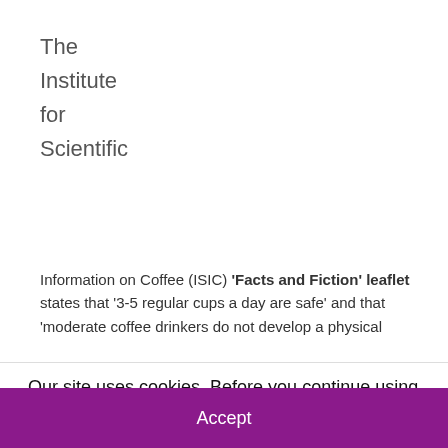The Institute for Scientific
Information on Coffee (ISIC) 'Facts and Fiction' leaflet states that '3-5 regular cups a day are safe' and that 'moderate coffee drinkers do not develop a physical
Our site uses cookies. Before you continue using it, please review our cookie policy to learn which cookies we use & why.
Accept